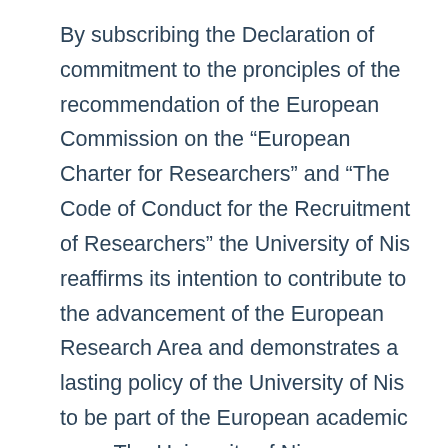By subscribing the Declaration of commitment to the pronciples of the recommendation of the European Commission on the “European Charter for Researchers” and “The Code of Conduct for the Recruitment of Researchers” the University of Nis reaffirms its intention to contribute to the advancement of the European Research Area and demonstrates a lasting policy of the University of Nis to be part of the European academic map. The University of Nis was awarded with a special award - Logo for excellence in the area of improving the working conditions of researchers (HR Excellence in Research).